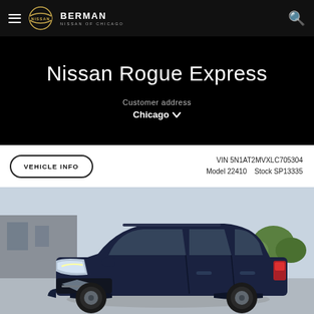Berman Nissan of Chicago
Nissan Rogue Express
Customer address
Chicago
VEHICLE INFO   VIN 5N1AT2MVXLC705304   Model 22410   Stock SP13335
[Figure (photo): Dark blue Nissan Rogue SUV parked in a dealership lot, front three-quarter view, photographed outdoors.]